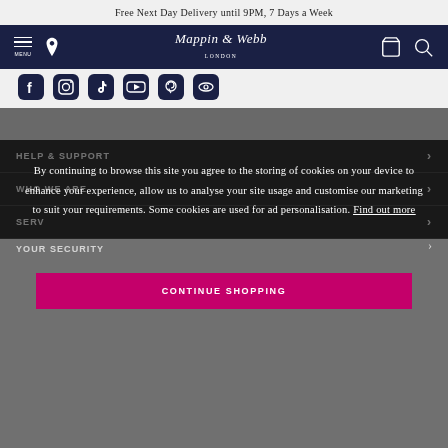Free Next Day Delivery until 9PM, 7 Days a Week
[Figure (logo): Mappin & Webb London logo in white on dark navy navigation bar, with hamburger menu, location pin, shopping bag, and search icons]
[Figure (infographic): Row of social media icons: Facebook, Instagram, TikTok, YouTube, Pinterest, and another icon on light grey background]
HELP & SUPPORT
WHO WE ARE
SERVICES
YOUR SECURITY
By continuing to browse this site you agree to the storing of cookies on your device to enhance your experience, allow us to analyse your site usage and customise our marketing to suit your requirements. Some cookies are used for ad personalisation. Find out more
CONTINUE SHOPPING